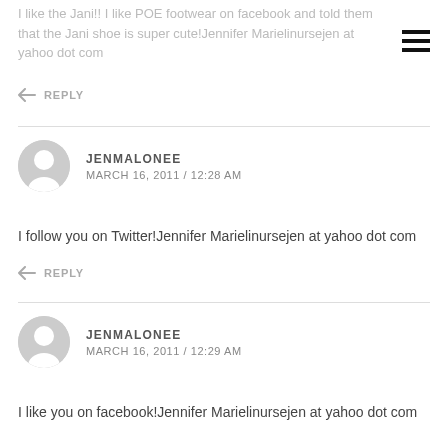I like the Jani!! I like POE footwear on facebook and told them that the Jani shoe is super cute!Jennifer Marielinursejen at yahoo dot com
REPLY
JENMALONEE
MARCH 16, 2011 / 12:28 AM
I follow you on Twitter!Jennifer Marielinursejen at yahoo dot com
REPLY
JENMALONEE
MARCH 16, 2011 / 12:29 AM
I like you on facebook!Jennifer Marielinursejen at yahoo dot com
REPLY
JENMALONEE
MARCH 16, 2011 / 12:29 AM